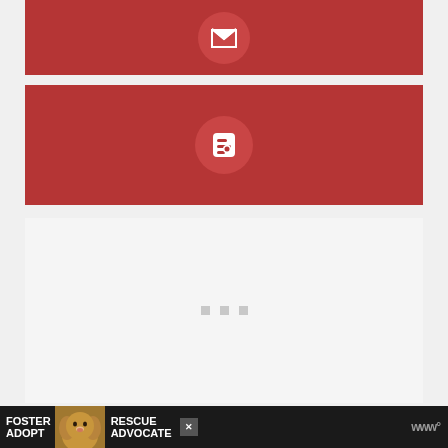[Figure (infographic): Red bar with Gmail envelope icon in a circle]
[Figure (infographic): Red bar with Blogger icon in a circle]
[Figure (infographic): Light gray section with three small gray square dots centered]
[Figure (infographic): Dark advertisement banner at bottom: FOSTER ADOPT with dog image and RESCUE ADVOCATE text, close button, and W logo]